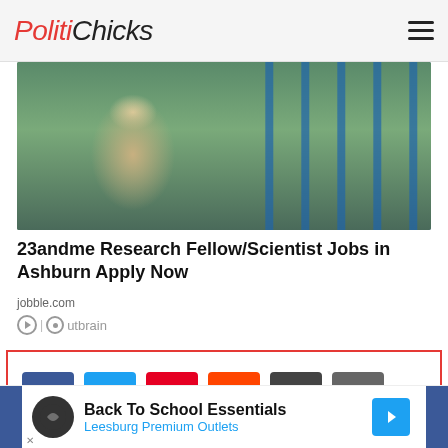PolitiChicks
[Figure (photo): Woman in green hijab and white lab coat wearing blue gloves handling a test tube next to a microscope in a laboratory with blue equipment]
23andme Research Fellow/Scientist Jobs in Ashburn Apply Now
jobble.com
Outbrain
[Figure (infographic): Social sharing buttons: Facebook, Twitter, Pinterest, Reddit, Email, Print — inside a red-bordered box]
[Figure (infographic): Bottom advertisement banner: Back To School Essentials, Leesburg Premium Outlets]